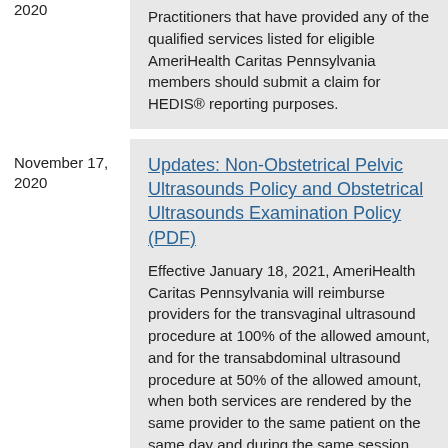2020
Practitioners that have provided any of the qualified services listed for eligible AmeriHealth Caritas Pennsylvania members should submit a claim for HEDIS® reporting purposes.
November 17, 2020
Updates: Non-Obstetrical Pelvic Ultrasounds Policy and Obstetrical Ultrasounds Examination Policy (PDF)
Effective January 18, 2021, AmeriHealth Caritas Pennsylvania will reimburse providers for the transvaginal ultrasound procedure at 100% of the allowed amount, and for the transabdominal ultrasound procedure at 50% of the allowed amount, when both services are rendered by the same provider to the same patient on the same day and during the same session.
November 13, 2020
Emergency Services Level of Care Review Policy (PDF)
Effective January 12, 2021, AmeriHealth Caritas Pennsylvania will review and potentially recover